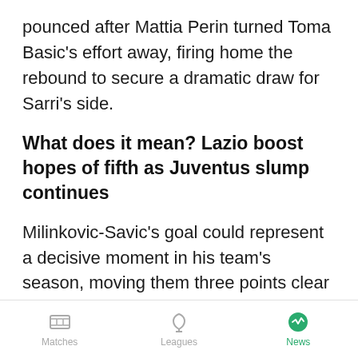pounced after Mattia Perin turned Toma Basic's effort away, firing home the rebound to secure a dramatic draw for Sarri's side.
What does it mean? Lazio boost hopes of fifth as Juventus slump continues
Milinkovic-Savic's goal could represent a decisive moment in his team's season, moving them three points clear of Roma with one game left. Lazio now only need to draw with Verona on the final day to finish above the Giallorossi for a third consecutive season.
Matches  Leagues  News